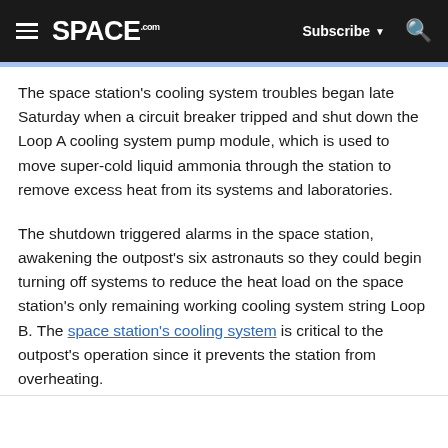≡  SPACE.com  Subscribe ▼  🔍
The space station's cooling system troubles began late Saturday when a circuit breaker tripped and shut down the Loop A cooling system pump module, which is used to move super-cold liquid ammonia through the station to remove excess heat from its systems and laboratories.
The shutdown triggered alarms in the space station, awakening the outpost's six astronauts so they could begin turning off systems to reduce the heat load on the space station's only remaining working cooling system string Loop B. The space station's cooling system is critical to the outpost's operation since it prevents the station from overheating.